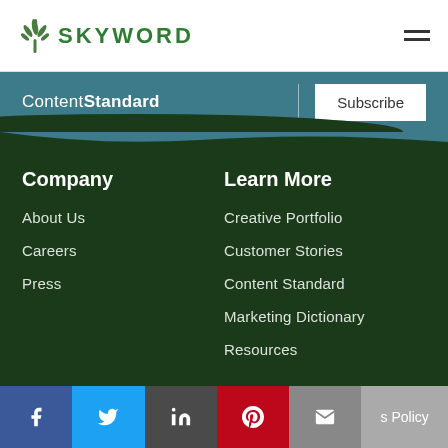SKYWORD
ContentStandard
Subscribe
Company
About Us
Careers
Press
Learn More
Creative Portfolio
Customer Stories
Content Standard
Marketing Dictionary
Resources
f  Twitter  in  Pinterest  Email  s Policy